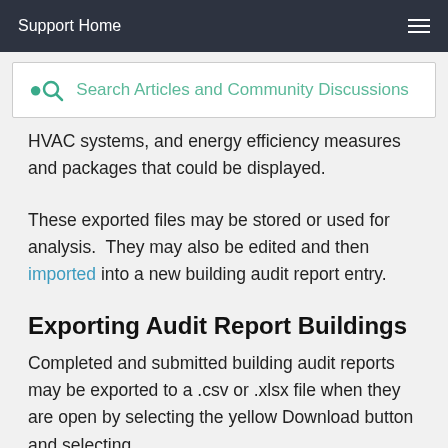Support Home
[Figure (screenshot): Search bar with magnifying glass icon and placeholder text 'Search Articles and Community Discussions']
HVAC systems, and energy efficiency measures and packages that could be displayed.
These exported files may be stored or used for analysis.  They may also be edited and then imported into a new building audit report entry.
Exporting Audit Report Buildings
Completed and submitted building audit reports may be exported to a .csv or .xlsx file when they are open by selecting the yellow Download button and selecting